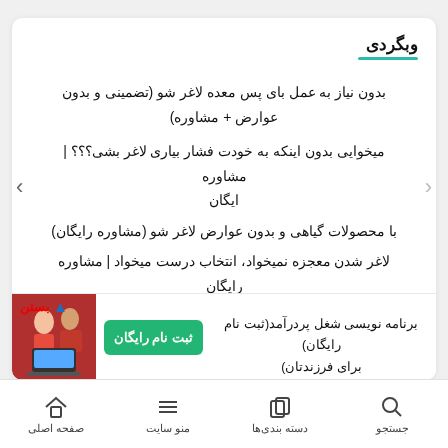وبگردی
بدون نیاز به عمل باى پس معده لاغر شو (تضمینى و بدون عوارض + مشاوره)
میخوایی بدون اینکه به خودت فشار بیاری لاغر بشی؟؟؟ | مشاوره ایگان
با محصولات گیاهی و بدون عوارض لاغر شو (مشاوره رایگان)
لاغر شدن معجزه نمیخواد، انتخاب درست میخواد | مشاوره رایگان
برنامه نویسی شغل پردرآمد(ثبت نام رایگان)
برای فرزندتان)
صفحه اصلی   منو سایت   دسته بندی‌ها   جستجو